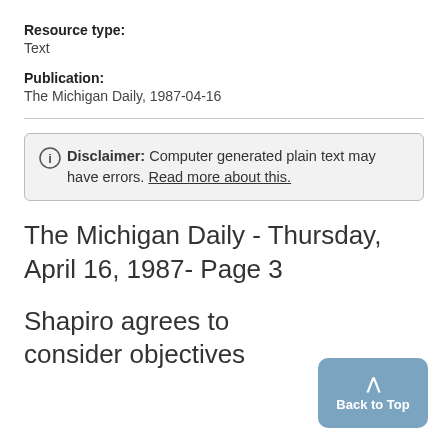Resource type:
Text
Publication:
The Michigan Daily, 1987-04-16
Disclaimer: Computer generated plain text may have errors. Read more about this.
The Michigan Daily - Thursday, April 16, 1987- Page 3
Shapiro agrees to consider objectives